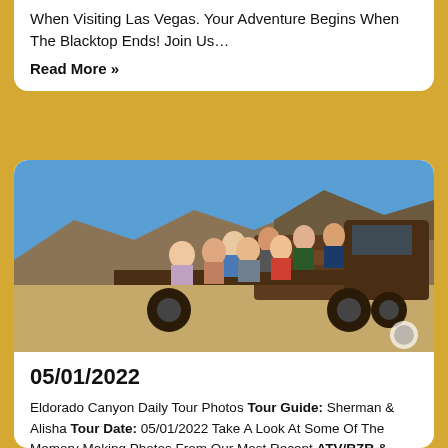When Visiting Las Vegas. Your Adventure Begins When The Blacktop Ends! Join Us…
Read More »
[Figure (photo): Group of people sitting on an old rusty flatbed truck in the desert with blue sky background]
05/01/2022
Eldorado Canyon Daily Tour Photos Tour Guide: Sherman & Alisha Tour Date: 05/01/2022 Take A Look At Some Of The Memory Making Photos From Our Most Recent ATV/RZR & Goldmine Adventure. Each Tour We Offer Provides Our Guests A Chance To Experience Something Truly Unique